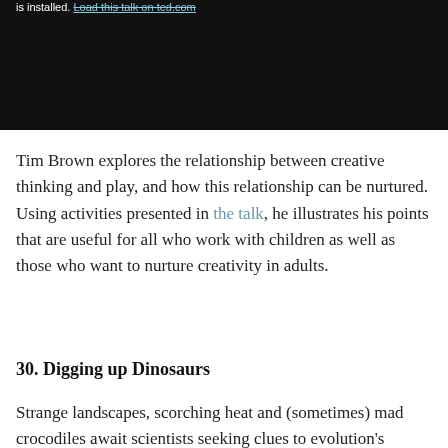[Figure (screenshot): Black video player embed area with text at top referencing a talk on ted.com]
Tim Brown explores the relationship between creative thinking and play, and how this relationship can be nurtured. Using activities presented in the talk, he illustrates his points that are useful for all who work with children as well as those who want to nurture creativity in adults.
30. Digging up Dinosaurs
Strange landscapes, scorching heat and (sometimes) mad crocodiles await scientists seeking clues to evolution's